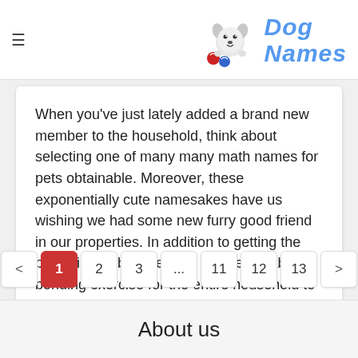≡  Dog Names
When you've just lately added a brand new member to the household, think about selecting one of many many math names for pets obtainable. Moreover, these exponentially cute namesakes have us wishing we had some new furry good friend in our properties. In addition to getting the possibility to be inventive, it's a enjoyable bonding exercise for the entire household to come back collectively to call their latest member of the family. In honor of Nationwide Pi Day, we're intrigued to see t...
< 1 2 3 ... 11 12 13 >
About us